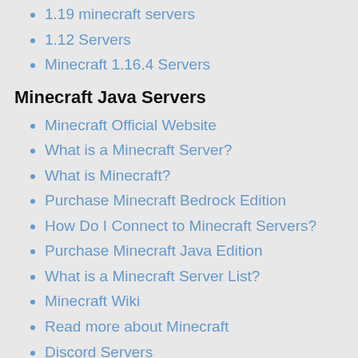1.19 minecraft servers
1.12 Servers
Minecraft 1.16.4 Servers
Minecraft Java Servers
Minecraft Official Website
What is a Minecraft Server?
What is Minecraft?
Purchase Minecraft Bedrock Edition
How Do I Connect to Minecraft Servers?
Purchase Minecraft Java Edition
What is a Minecraft Server List?
Minecraft Wiki
Read more about Minecraft
Discord Servers
NEW MINECRAFT SERVERS
UniverseMC